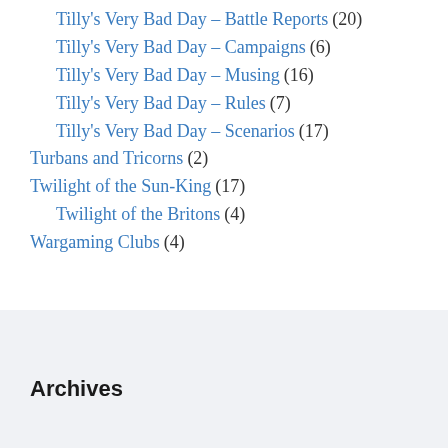Tilly's Very Bad Day – Battle Reports (20)
Tilly's Very Bad Day – Campaigns (6)
Tilly's Very Bad Day – Musing (16)
Tilly's Very Bad Day – Rules (7)
Tilly's Very Bad Day – Scenarios (17)
Turbans and Tricorns (2)
Twilight of the Sun-King (17)
Twilight of the Britons (4)
Wargaming Clubs (4)
Archives